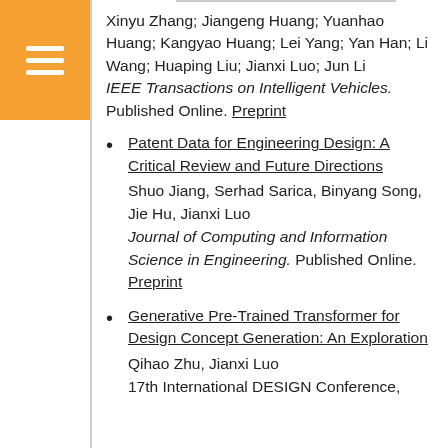Xinyu Zhang; Jiangeng Huang; Yuanhao Huang; Kangyao Huang; Lei Yang; Yan Han; Li Wang; Huaping Liu; Jianxi Luo; Jun Li
IEEE Transactions on Intelligent Vehicles. Published Online. Preprint
Patent Data for Engineering Design: A Critical Review and Future Directions
Shuo Jiang, Serhad Sarica, Binyang Song, Jie Hu, Jianxi Luo
Journal of Computing and Information Science in Engineering. Published Online.
Preprint
Generative Pre-Trained Transformer for Design Concept Generation: An Exploration
Qihao Zhu, Jianxi Luo
17th International DESIGN Conference,